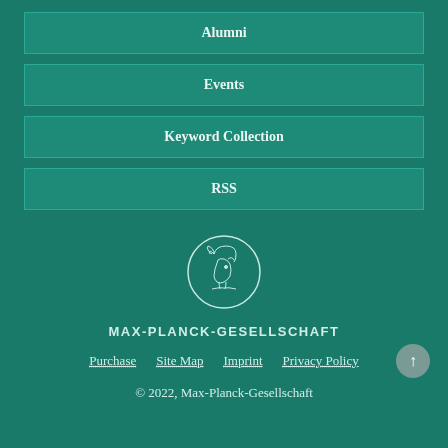Alumni
Events
Keyword Collection
RSS
[Figure (logo): Max-Planck-Gesellschaft circular logo with Minerva head profile]
MAX-PLANCK-GESELLSCHAFT
Purchase  Site Map  Imprint  Privacy Policy
© 2022, Max-Planck-Gesellschaft